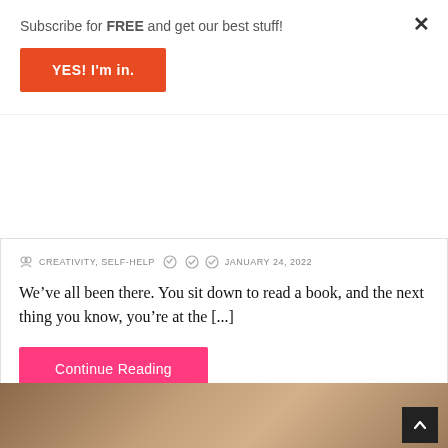Subscribe for FREE and get our best stuff!
YES! I'm in.
CREATIVITY, SELF-HELP   JANUARY 24, 2022
We've all been there. You sit down to read a book, and the next thing you know, you're at the [...]
Continue Reading
[Figure (photo): Photo of a woman and man in soft indoor lighting, partially visible at bottom of page]